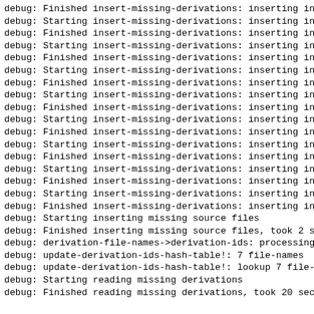debug: Finished insert-missing-derivations: inserting in
debug: Starting insert-missing-derivations: inserting in
debug: Finished insert-missing-derivations: inserting in
debug: Starting insert-missing-derivations: inserting in
debug: Finished insert-missing-derivations: inserting in
debug: Starting insert-missing-derivations: inserting in
debug: Finished insert-missing-derivations: inserting in
debug: Starting insert-missing-derivations: inserting in
debug: Finished insert-missing-derivations: inserting in
debug: Starting insert-missing-derivations: inserting in
debug: Finished insert-missing-derivations: inserting in
debug: Starting insert-missing-derivations: inserting in
debug: Finished insert-missing-derivations: inserting in
debug: Starting insert-missing-derivations: inserting in
debug: Finished insert-missing-derivations: inserting in
debug: Starting insert-missing-derivations: inserting in
debug: Finished insert-missing-derivations: inserting in
debug: Starting inserting missing source files
debug: Finished inserting missing source files, took 2 s
debug: derivation-file-names->derivation-ids: processing
debug: update-derivation-ids-hash-table!: 7 file-names
debug: update-derivation-ids-hash-table!: lookup 7 file-
debug: Starting reading missing derivations
debug: Finished reading missing derivations, took 20 sec